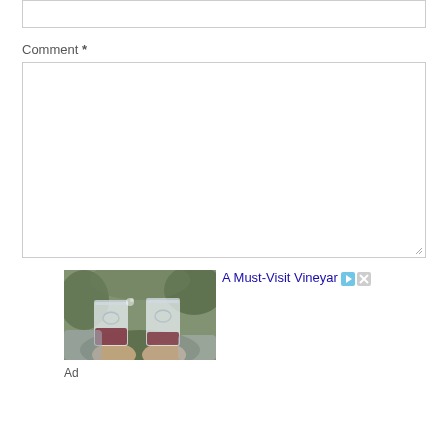Comment *
[Figure (photo): Two hands clinking stemless wine glasses with red wine, outdoors with blurred green background]
A Must-Visit Vineyar
Ad